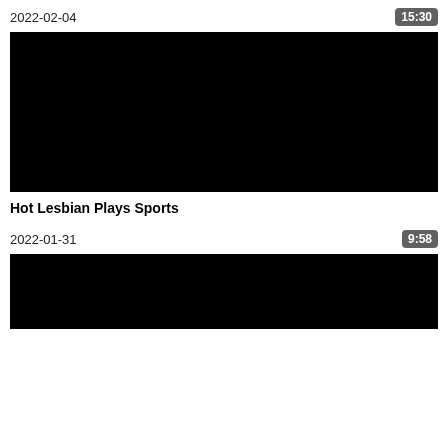2022-02-04
15:30
[Figure (photo): Black video thumbnail]
Hot Lesbian Plays Sports
2022-01-31
9:58
[Figure (photo): Black video thumbnail (partial)]